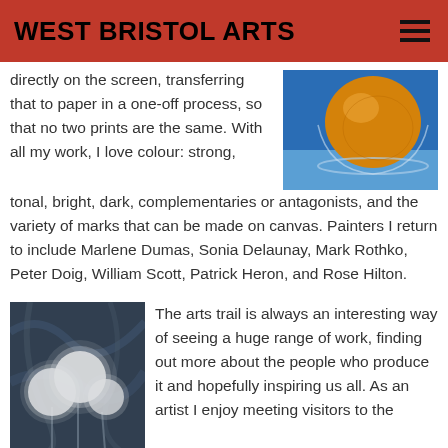WEST BRISTOL ARTS
directly on the screen, transferring that to paper in a one-off process, so that no two prints are the same. With all my work, I love colour: strong, tonal, bright, dark, complementaries or antagonists, and the variety of marks that can be made on canvas. Painters I return to include Marlene Dumas, Sonia Delaunay, Mark Rothko, Peter Doig, William Scott, Patrick Heron, and Rose Hilton.
[Figure (photo): Close-up photo of a circular orange/amber glass object on a blue background]
[Figure (photo): Painting of glowing white circular forms (dandelion-like) against a dark abstract blue-grey background]
The arts trail is always an interesting way of seeing a huge range of work, finding out more about the people who produce it and hopefully inspiring us all. As an artist I enjoy meeting visitors to the